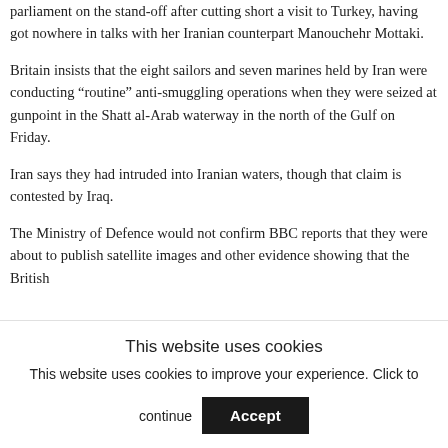parliament on the stand-off after cutting short a visit to Turkey, having got nowhere in talks with her Iranian counterpart Manouchehr Mottaki.
Britain insists that the eight sailors and seven marines held by Iran were conducting “routine” anti-smuggling operations when they were seized at gunpoint in the Shatt al-Arab waterway in the north of the Gulf on Friday.
Iran says they had intruded into Iranian waters, though that claim is contested by Iraq.
The Ministry of Defence would not confirm BBC reports that they were about to publish satellite images and other evidence showing that the British
This website uses cookies
This website uses cookies to improve your experience. Click to continue
Accept